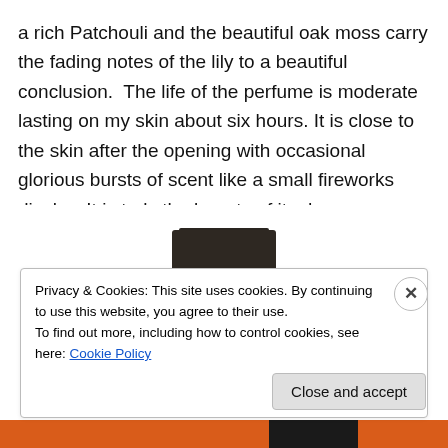a rich Patchouli and the beautiful oak moss carry the fading notes of the lily to a beautiful conclusion.  The life of the perfume is moderate lasting on my skin about six hours. It is close to the skin after the opening with occasional glorious bursts of scent like a small fireworks display. It is truly the beauty of its day.
[Figure (photo): A perfume bottle with a black square cap/stopper and a dark red/amber glass body, photographed against a white background.]
Privacy & Cookies: This site uses cookies. By continuing to use this website, you agree to their use.
To find out more, including how to control cookies, see here: Cookie Policy
Close and accept